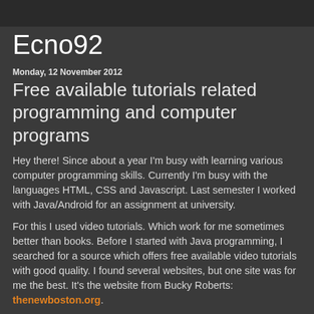Ecno92
Monday, 12 November 2012
Free available tutorials related programming and computer programs
Hey there! Since about a year I'm busy with learning various computer programming skills. Currently I'm busy with the languages HTML, CSS and Javascript. Last semester I worked with Java/Android for an assignment at university.
For this I used video tutorials. Which work for me sometimes better than books. Before I started with Java programming, I searched for a source which offers free available video tutorials with good quality. I found several websites, but one site was for me the best. It's the website from Bucky Roberts: thenewboston.org.